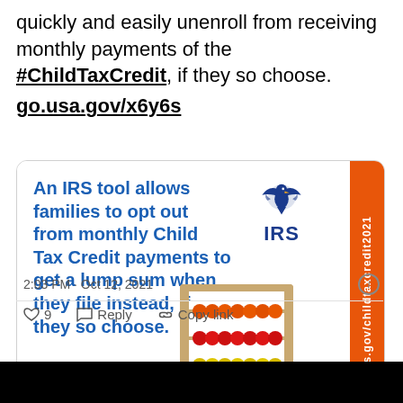quickly and easily unenroll from receiving monthly payments of the #ChildTaxCredit, if they so choose. go.usa.gov/x6y6s
[Figure (screenshot): IRS promotional card showing an abacus image with text: An IRS tool allows families to opt out from monthly Child Tax Credit payments to get a lump sum when they file instead, if they so choose. Orange sidebar with irs.gov/childtaxcredit2021]
2:03 PM · Oct 12, 2021
9  Reply  Copy link